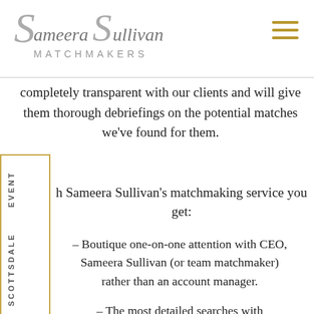Sameera Sullivan MATCHMAKERS
completely transparent with our clients and will give them thorough debriefings on the potential matches we've found for them.
h Sameera Sullivan's matchmaking service you get:
– Boutique one-on-one attention with CEO, Sameera Sullivan (or team matchmaker) rather than an account manager.
– The most detailed searches with